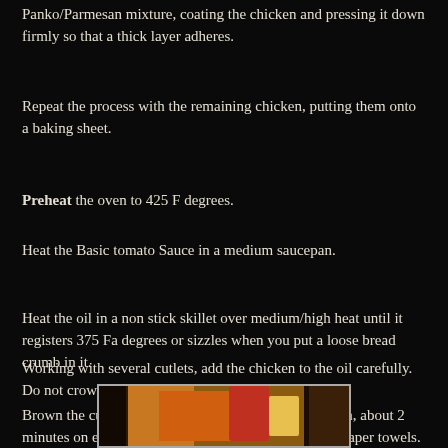Panko/Parmesan mixture, coating the chicken and pressing it down firmly so that a thick layer adheres.
Repeat the process with the remaining chicken, putting them onto a baking sheet.
Preheat the oven to 425 F degrees.
Heat the Basic tomato Sauce in a medium saucepan.
Heat the oil in a non stick skillet over medium/high heat until it registers 375 Fa degrees or sizzles when you put a loose bread crumb in it.
Working with several cutlets, add the chicken to the oil carefully. Do not crowd pan, 2-3.
Brown the cutlets and use a spatula the flip the chicken, about 2 minutes on each side. Transfer to a platter lined with paper towels.
[Figure (photo): Photo of food being cooked, showing what appears to be breaded chicken cutlets in a pan with cooking equipment visible in the background]